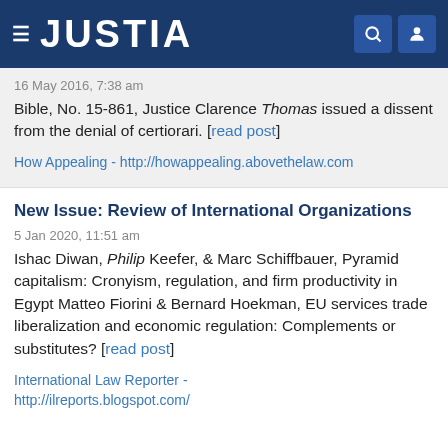JUSTIA
16 May 2016, 7:38 am
Bible, No. 15-861, Justice Clarence Thomas issued a dissent from the denial of certiorari. [read post]
How Appealing - http://howappealing.abovethelaw.com
New Issue: Review of International Organizations
5 Jan 2020, 11:51 am
Ishac Diwan, Philip Keefer, & Marc Schiffbauer, Pyramid capitalism: Cronyism, regulation, and firm productivity in Egypt Matteo Fiorini & Bernard Hoekman, EU services trade liberalization and economic regulation: Complements or substitutes? [read post]
International Law Reporter - http://ilreports.blogspot.com/